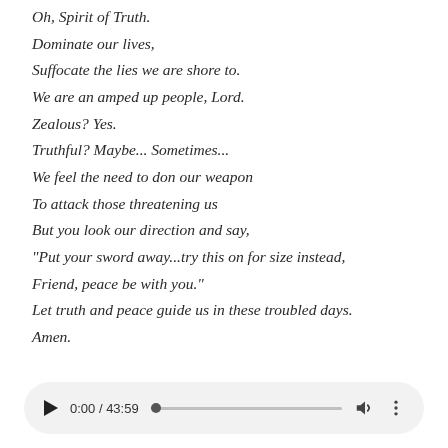Oh, Spirit of Truth.
Dominate our lives,
Suffocate the lies we are shore to.
We are an amped up people, Lord.
Zealous? Yes.
Truthful? Maybe... Sometimes...
We feel the need to don our weapon
To attack those threatening us
But you look our direction and say,
"Put your sword away...try this on for size instead,
Friend, peace be with you."
Let truth and peace guide us in these troubled days.
Amen.
[Figure (other): Audio player widget showing 0:00 / 43:59 with play button, progress bar, volume and more options controls]